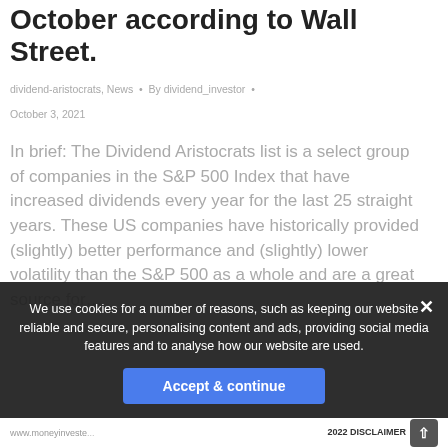October according to Wall Street.
dividend-aristocrats, News  •  By dividend_investor  •  October 3, 2021
In brief: The Dividend Aristocrats list is a select group of companies in the S&P 500 Index that have increased dividends every year for the last 25 straight years. These US companies have historically provided (slightly) better performance and (slightly) lower volatility than the S&P 500 as a whole and are a great source for…
We use cookies for a number of reasons, such as keeping our website reliable and secure, personalising content and ads, providing social media features and to analyse how our website are used.
www.moneyinveste... 2022 DISCLAIMER